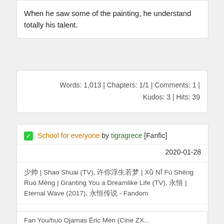When he saw some of the painting, he understand totally his talent.
Words: 1,013 | Chapters: 1/1 | Comments: 1 | Kudos: 3 | Hits: 39
✅ School for everyone by tigragrece [Fanfic] 2020-01-28
少帅 | Shao Shuai (TV), 许你浮生若梦 | Xǔ Nǐ Fú Shēng Ruò Mèng | Granting You a Dreamlike Life (TV), 永恒 | Eternal Wave (2017), 永恒传说 - Fandom
Teen And Up Audiences, Graphic Depictions of Violence
Fan Your/huo Ojamas Éric Men (Cine ZX...